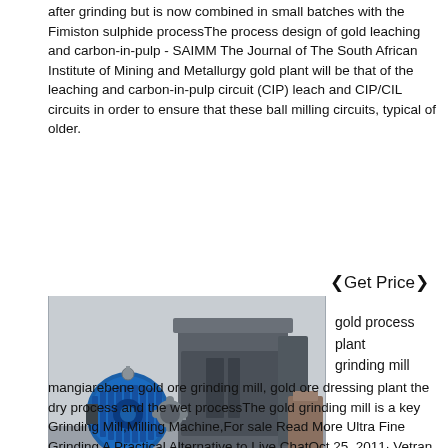after grinding but is now combined in small batches with the Fimiston sulphide processThe process design of gold leaching and carbon-in-pulp - SAIMM The Journal of The South African Institute of Mining and Metallurgy gold plant will be that of the leaching and carbon-in-pulp circuit (CIP) leach and CIP/CIL circuits in order to ensure that these ball milling circuits, typical of older.
❮Get Price❯
gold process plant grinding mill
[Figure (photo): Industrial grinding mill machine with blue electric motor and grey metal body, photographed inside a warehouse/factory setting.]
mangiarebene gold ore grinding mill, gold ore dressing plant the dry process and the wet processThe gold grinding mill is a key Grinding Mill,Milling Machine,For sale Read More Ultra Fine Grinding A Practical Alternative to Live ChatOct 25, 2011· Vetran miner Mike Reynolds takes us through a tour of a gold processing mill that he has been working on for several years He